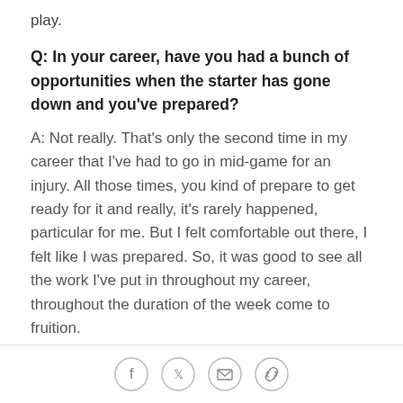play.
Q: In your career, have you had a bunch of opportunities when the starter has gone down and you've prepared?
A: Not really. That's only the second time in my career that I've had to go in mid-game for an injury. All those times, you kind of prepare to get ready for it and really, it's rarely happened, particular for me. But I felt comfortable out there, I felt like I was prepared. So, it was good to see all the work I've put in throughout my career, throughout the duration of the week come to fruition.
Q: What about weeks like this where this could be one where you get a lot of reps with the ones and
[Figure (other): Social sharing icons: Facebook, Twitter, Email, Link]